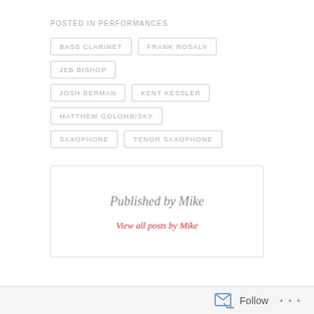POSTED IN PERFORMANCES
BASS CLARINET
FRANK ROSALY
JEB BISHOP
JOSH BERMAN
KENT KESSLER
MATTHEW GOLOMBISKY
SAXOPHONE
TENOR SAXOPHONE
Published by Mike
View all posts by Mike
‹ PREVIOUS
Bagatellen Reviews
NEXT ›
New Releases on Leo Records